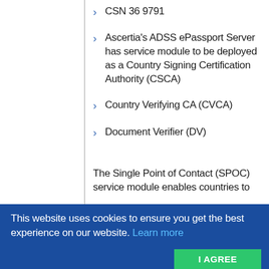CSN 36 9791
Ascertia's ADSS ePassport Server has service module to be deployed as a Country Signing Certification Authority (CSCA)
Country Verifying CA (CVCA)
Document Verifier (DV)
The Single Point of Contact (SPOC) service module enables countries to
This website uses cookies to ensure you get the best experience on our website. Learn more
I AGREE